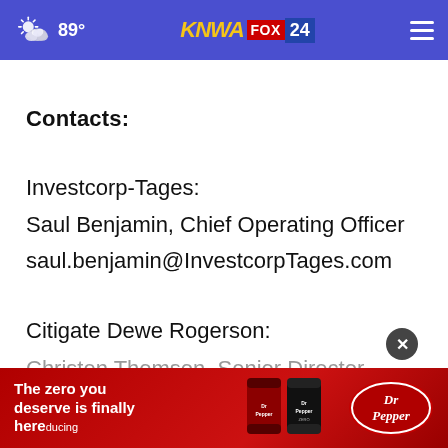89° KNWA FOX 24
Contacts:
Investcorp-Tages:
Saul Benjamin, Chief Operating Officer
saul.benjamin@InvestcorpTages.com
Citigate Dewe Rogerson:
Christen Thomson, Senior Director
christe...om
[Figure (infographic): Dr Pepper Zero Sugar advertisement banner: 'The zero you deserve is finally here' with Dr Pepper cans and logo]